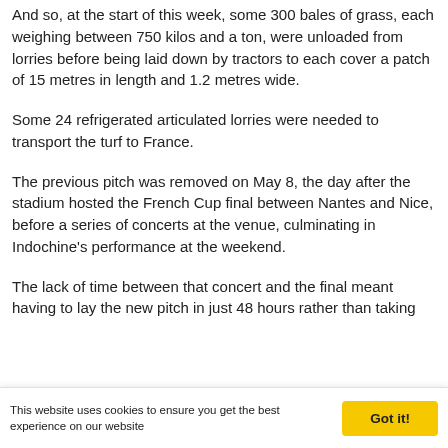And so, at the start of this week, some 300 bales of grass, each weighing between 750 kilos and a ton, were unloaded from lorries before being laid down by tractors to each cover a patch of 15 metres in length and 1.2 metres wide.
Some 24 refrigerated articulated lorries were needed to transport the turf to France.
The previous pitch was removed on May 8, the day after the stadium hosted the French Cup final between Nantes and Nice, before a series of concerts at the venue, culminating in Indochine's performance at the weekend.
The lack of time between that concert and the final meant having to lay the new pitch in just 48 hours rather than taking
This website uses cookies to ensure you get the best experience on our website